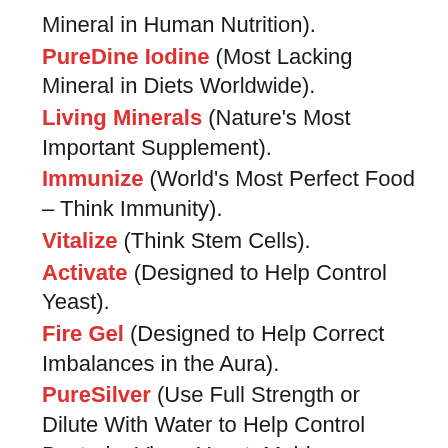Mineral in Human Nutrition).
PureDine Iodine (Most Lacking Mineral in Diets Worldwide).
Living Minerals (Nature's Most Important Supplement).
Immunize (World's Most Perfect Food – Think Immunity).
Vitalize (Think Stem Cells).
Activate (Designed to Help Control Yeast).
Fire Gel (Designed to Help Correct Imbalances in the Aura).
PureSilver (Use Full Strength or Dilute With Water to Help Control Bacteria, Virus, Yeast, Mold or Fungus).
PureCopper (Copper Has a Long List of